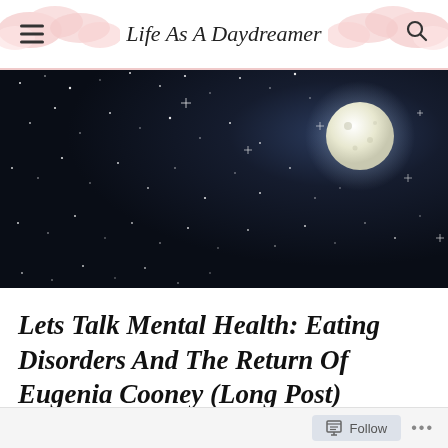Life As A Daydreamer
[Figure (photo): Night sky with stars and a bright full moon in the upper right area against a dark blue-black background]
Lets Talk Mental Health: Eating Disorders And The Return Of Eugenia Cooney (Long Post)
Follow